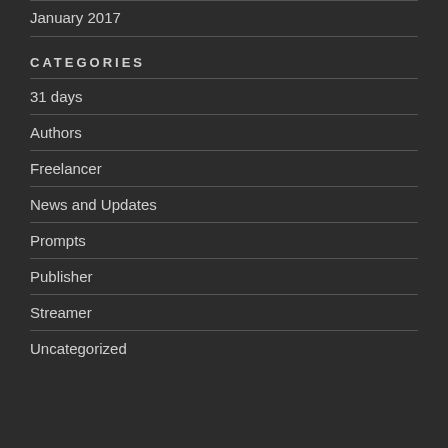January 2017
CATEGORIES
31 days
Authors
Freelancer
News and Updates
Prompts
Publisher
Streamer
Uncategorized